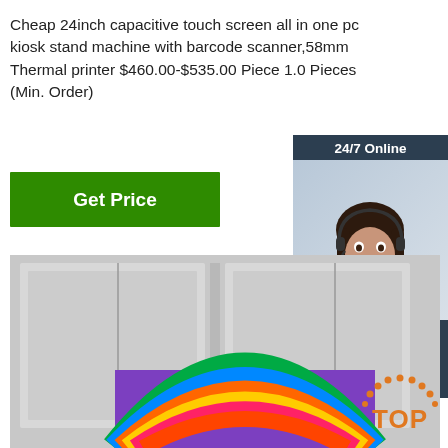Cheap 24inch capacitive touch screen all in one pc kiosk stand machine with barcode scanner,58mm Thermal printer $460.00-$535.00 Piece 1.0 Pieces (Min. Order)
[Figure (other): Green 'Get Price' button]
[Figure (other): 24/7 Online chat panel with female agent wearing headset, 'Click here for free chat!' text, and orange QUOTATION button]
[Figure (photo): Product photo of kiosk stand machine showing gray kiosk panels and a colorful rainbow-arc screen display]
[Figure (logo): Orange TOP logo with dots arc at bottom right]